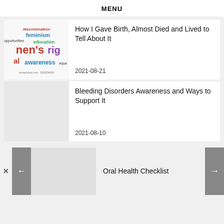MENU
How I Gave Birth, Almost Died and Lived to Tell About It
2021-08-21
Bleeding Disorders Awareness and Ways to Support It
2021-08-10
Oral Health Checklist